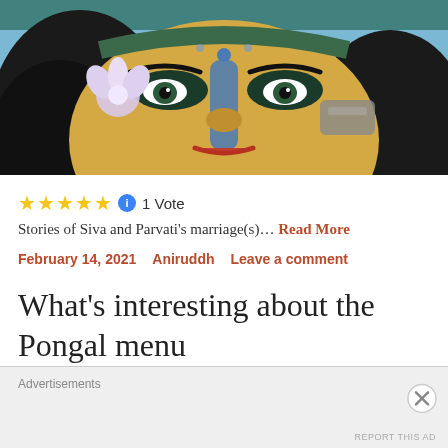[Figure (illustration): Colorful illustration of a deity face (Parvati/Durga style) with large eyes, blue facial marking, yellow skin, black hair with lotus flower, blue background with decorative elements]
★★★★★ ℹ 1 Vote
Stories of Siva and Parvati's marriage(s)… Read More
February 14, 2021   Aniruddh   Leave a comment
What's interesting about the Pongal menu
Advertisements